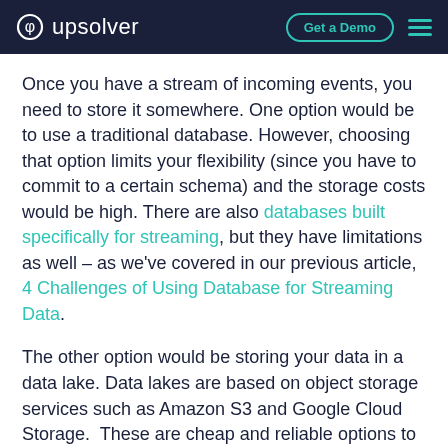upsolver | Get a Demo
Once you have a stream of incoming events, you need to store it somewhere. One option would be to use a traditional database. However, choosing that option limits your flexibility (since you have to commit to a certain schema) and the storage costs would be high. There are also databases built specifically for streaming, but they have limitations as well – as we've covered in our previous article, 4 Challenges of Using Database for Streaming Data.
The other option would be storing your data in a data lake. Data lakes are based on object storage services such as Amazon S3 and Google Cloud Storage.  These are cheap and reliable options to store data in the cloud. This is the best choice for handling high